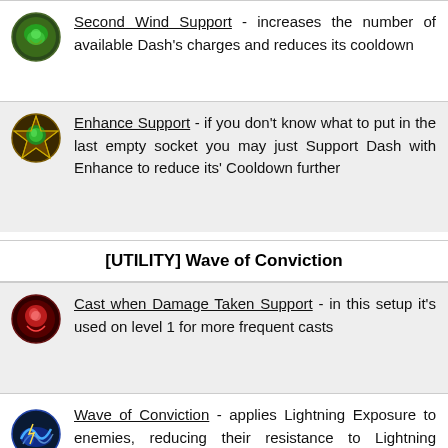Second Wind Support - increases the number of available Dash's charges and reduces its cooldown
Enhance Support - if you don't know what to put in the last empty socket you may just Support Dash with Enhance to reduce its' Cooldown further
[UTILITY] Wave of Conviction
Cast when Damage Taken Support - in this setup it's used on level 1 for more frequent casts
Wave of Conviction - applies Lightning Exposure to enemies, reducing their resistance to Lightning Damage. Use a level 7 Wave of Conviction Gem